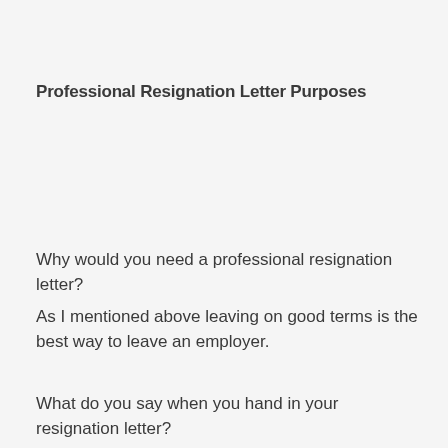Professional Resignation Letter Purposes
Why would you need a professional resignation letter?
As I mentioned above leaving on good terms is the best way to leave an employer.
What do you say when you hand in your resignation letter?